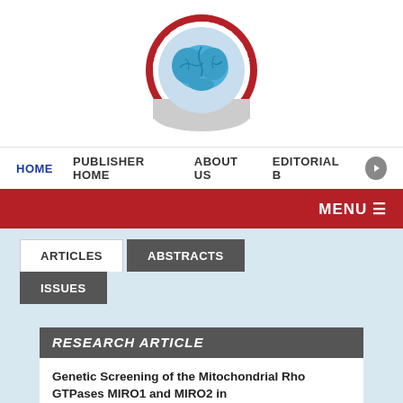[Figure (logo): The Open Neurology Journal circular logo with red border and blue brain illustration]
HOME | PUBLISHER HOME | ABOUT US | EDITORIAL B
MENU
ARTICLES | ABSTRACTS | ISSUES
RESEARCH ARTICLE
Genetic Screening of the Mitochondrial Rho GTPases MIRO1 and MIRO2 in